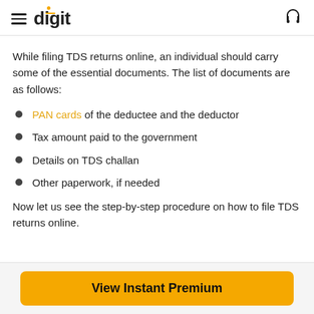digit
While filing TDS returns online, an individual should carry some of the essential documents. The list of documents are as follows:
PAN cards of the deductee and the deductor
Tax amount paid to the government
Details on TDS challan
Other paperwork, if needed
Now let us see the step-by-step procedure on how to file TDS returns online.
View Instant Premium